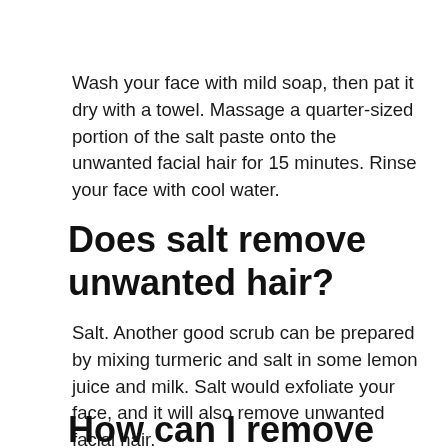Wash your face with mild soap, then pat it dry with a towel. Massage a quarter-sized portion of the salt paste onto the unwanted facial hair for 15 minutes. Rinse your face with cool water.
Does salt remove unwanted hair?
Salt. Another good scrub can be prepared by mixing turmeric and salt in some lemon juice and milk. Salt would exfoliate your face, and it will also remove unwanted facial hair.
How can I remove unwanted